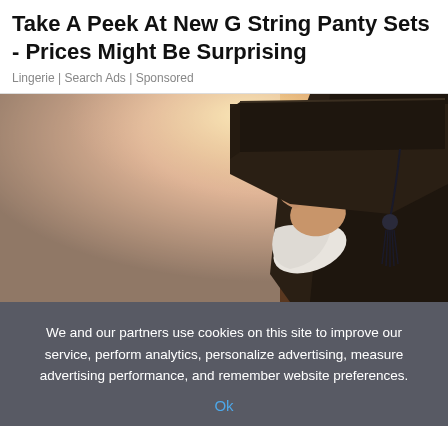Take A Peek At New G String Panty Sets - Prices Might Be Surprising
Lingerie | Search Ads | Sponsored
[Figure (photo): Hand holding a graduation cap with tassel, person wearing dark academic gown with white shirt sleeve visible, warm backlit lighting]
We and our partners use cookies on this site to improve our service, perform analytics, personalize advertising, measure advertising performance, and remember website preferences.
Ok